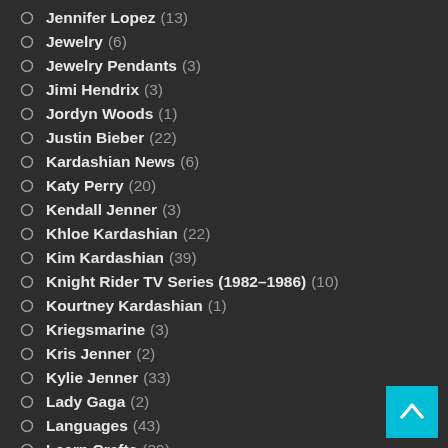Jennifer Lopez (13)
Jewelry (6)
Jewelry Pendants (3)
Jimi Hendrix (3)
Jordyn Woods (1)
Justin Bieber (22)
Kardashian News (6)
Katy Perry (20)
Kendall Jenner (3)
Khloe Kardashian (22)
Kim Kardashian (39)
Knight Rider TV Series (1982–1986) (10)
Kourtney Kardashian (1)
Kriegsmarine (3)
Kris Jenner (2)
Kylie Jenner (33)
Lady Gaga (2)
Languages (43)
Learn Crafts (39)